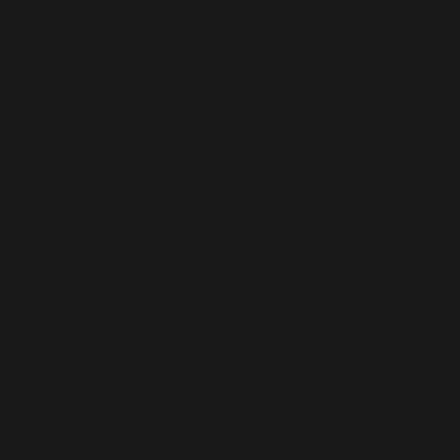[Figure (photo): Entirely black/dark image with no visible content or text.]